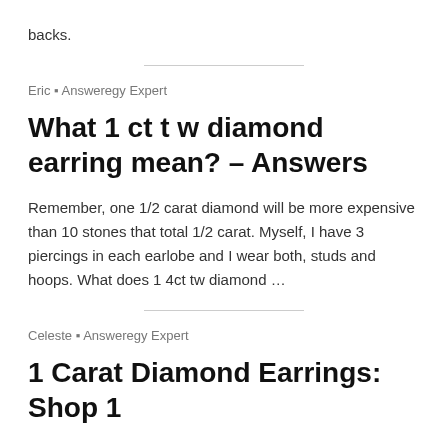backs.
Eric · Answeregy Expert
What 1 ct t w diamond earring mean? – Answers
Remember, one 1/2 carat diamond will be more expensive than 10 stones that total 1/2 carat. Myself, I have 3 piercings in each earlobe and I wear both, studs and hoops. What does 1 4ct tw diamond …
Celeste · Answeregy Expert
1 Carat Diamond Earrings: Shop 1